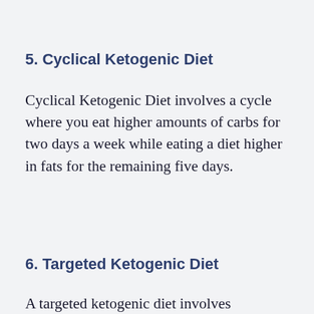5. Cyclical Ketogenic Diet
Cyclical Ketogenic Diet involves a cycle where you eat higher amounts of carbs for two days a week while eating a diet higher in fats for the remaining five days.
6. Targeted Ketogenic Diet
A targeted ketogenic diet involves...